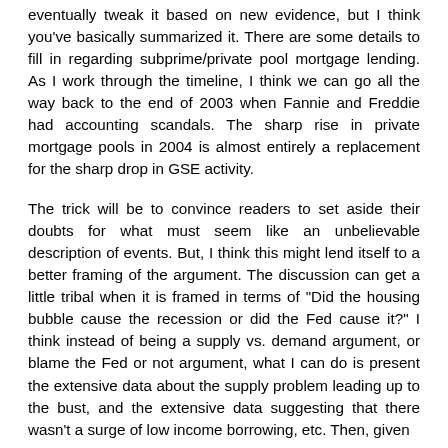eventually tweak it based on new evidence, but I think you've basically summarized it. There are some details to fill in regarding subprime/private pool mortgage lending. As I work through the timeline, I think we can go all the way back to the end of 2003 when Fannie and Freddie had accounting scandals. The sharp rise in private mortgage pools in 2004 is almost entirely a replacement for the sharp drop in GSE activity.
The trick will be to convince readers to set aside their doubts for what must seem like an unbelievable description of events. But, I think this might lend itself to a better framing of the argument. The discussion can get a little tribal when it is framed in terms of "Did the housing bubble cause the recession or did the Fed cause it?" I think instead of being a supply vs. demand argument, or blame the Fed or not argument, what I can do is present the extensive data about the supply problem leading up to the bust, and the extensive data suggesting that there wasn't a surge of low income borrowing, etc. Then, given